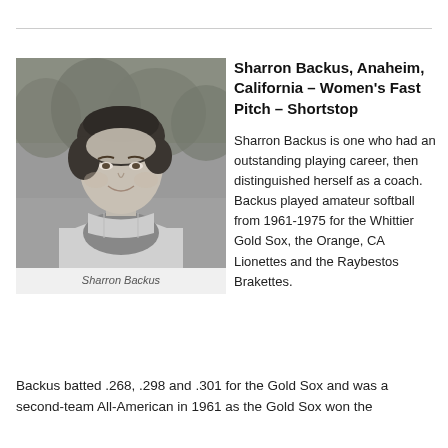[Figure (photo): Black and white portrait photo of Sharron Backus, a woman with short dark hair, smiling, wearing a softball uniform, with trees in the background.]
Sharron Backus
Sharron Backus, Anaheim, California – Women's Fast Pitch – Shortstop
Sharron Backus is one who had an outstanding playing career, then distinguished herself as a coach. Backus played amateur softball from 1961-1975 for the Whittier Gold Sox, the Orange, CA Lionettes and the Raybestos Brakettes.
Backus batted .268, .298 and .301 for the Gold Sox and was a second-team All-American in 1961 as the Gold Sox won the